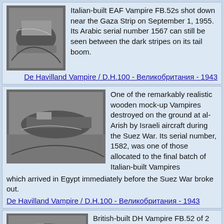[Figure (photo): Black and white photo of a crashed or downed aircraft (EAF Vampire FB.52) near the Gaza Strip]
Italian-built EAF Vampire FB.52s shot down near the Gaza Strip on September 1, 1955. Its Arabic serial number 1567 can still be seen between the dark stripes on its tail boom.
De Havilland Vampire / D.H.100 - Великобритания - 1943
[Figure (photo): Black and white photo of a wooden mock-up Vampire destroyed on the ground at al-Arish]
One of the remarkably realistic wooden mock-up Vampires destroyed on the ground at al-Arish by Israeli aircraft during the Suez War. Its serial number, 1582, was one of those allocated to the final batch of Italian-built Vampires which arrived in Egypt immediately before the Suez War broke out.
De Havilland Vampire / D.H.100 - Великобритания - 1943
[Figure (photo): Black and white photo of British-built DH Vampire FB.52 of 2 Squadron, Egyptian Air Force circa 1956]
British-built DH Vampire FB.52 of 2 Squadron, Egyptian Air Force circa 1956